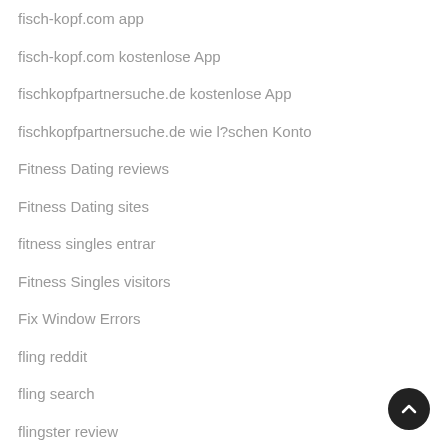fisch-kopf.com app
fisch-kopf.com kostenlose App
fischkopfpartnersuche.de kostenlose App
fischkopfpartnersuche.de wie l?schen Konto
Fitness Dating reviews
Fitness Dating sites
fitness singles entrar
Fitness Singles visitors
Fix Window Errors
fling reddit
fling search
flingster review
flingster search